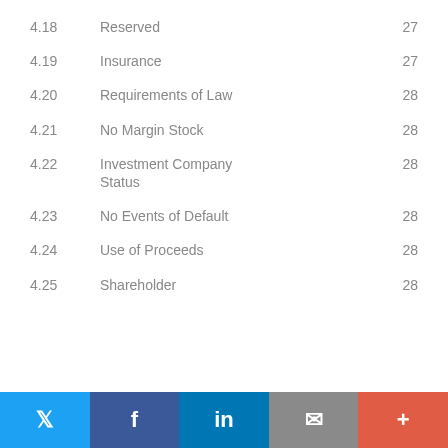4.18    Reserved    27
4.19    Insurance    27
4.20    Requirements of Law    28
4.21    No Margin Stock    28
4.22    Investment Company Status    28
4.23    No Events of Default    28
4.24    Use of Proceeds    28
4.25    Shareholder    28